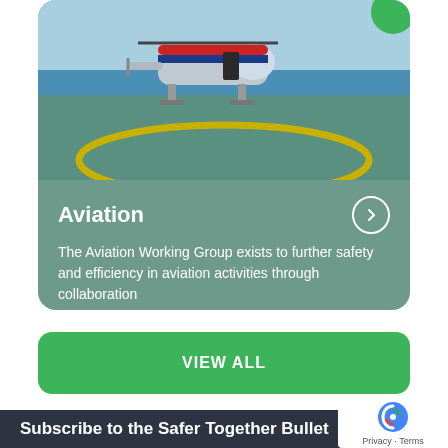[Figure (photo): A red and white helicopter parked on a helipad on an offshore oil platform, with the ocean visible in the background. The helipad has a yellow circle marking.]
Aviation
The Aviation Working Group exists to further safety and efficiency in aviation activities through collaboration
VIEW ALL
Subscribe to the Safer Together Bullet